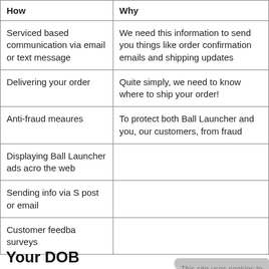| How | Why |
| --- | --- |
| Serviced based communication via email or text message | We need this information to send you things like order confirmation emails and shipping updates |
| Delivering your order | Quite simply, we need to know where to ship your order! |
| Anti-fraud meaures | To protect both Ball Launcher and you, our customers, from fraud |
| Displaying Ball Launcher ads acro… the web |  |
| Sending info via S… post or email |  |
| Customer feedba… surveys |  |
Your DOB
[Figure (screenshot): Cookie consent popup overlay with text: 'This site uses cookies to provide and improve your shopping experience. If you want to benefit from this improved service, please opt-in. Cookies Page.' with opt-in text and Accept Cookies orange button.]